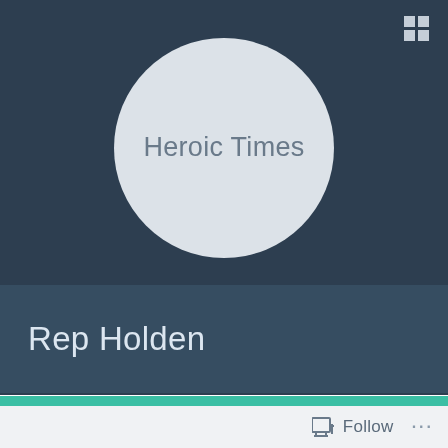[Figure (screenshot): App profile page screenshot showing a circular avatar with text 'Heroic Times', a dark blue background, a name bar with 'Rep Holden', a green bar with partial text 'A SORA Bullet and', and a bottom white bar with Follow button and grid icon.]
Heroic Times
Rep Holden
A SORA Bullet and
Follow